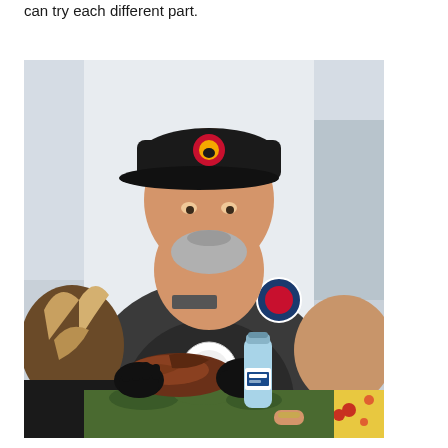can try each different part.
[Figure (photo): A man wearing a black cap with a logo and a dark gray chef shirt with an apron, using black gloves to pull apart cooked meat at a table. Two people are visible from behind in the foreground, one with highlighted hair on the left and one in a floral top on the right. A water bottle is on the table among the food and garnishes.]